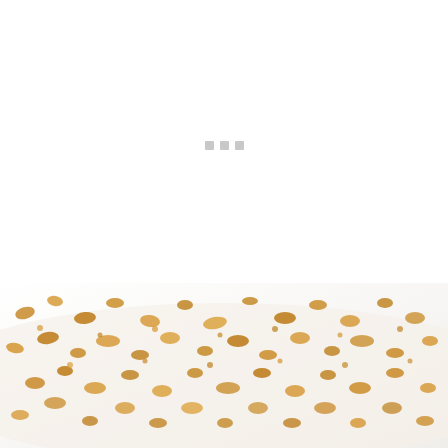[Figure (screenshot): White loading area with three small gray squares (loading indicator dots) centered in the upper portion of the page]
32.8k
[Figure (other): Heart (favorite) button — white circle with heart icon]
[Figure (other): Search/zoom button — teal/dark green circle with magnifying glass icon]
[Figure (photo): Close-up photo of a dessert dish with golden crumble topping scattered over white cream, on a white surface]